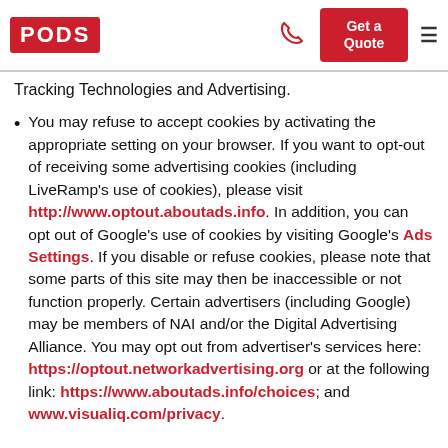PODS | Get a Quote
Tracking Technologies and Advertising.
You may refuse to accept cookies by activating the appropriate setting on your browser. If you want to opt-out of receiving some advertising cookies (including LiveRamp's use of cookies), please visit http://www.optout.aboutads.info. In addition, you can opt out of Google's use of cookies by visiting Google's Ads Settings. If you disable or refuse cookies, please note that some parts of this site may then be inaccessible or not function properly. Certain advertisers (including Google) may be members of NAI and/or the Digital Advertising Alliance. You may opt out from advertiser's services here: https://optout.networkadvertising.org or at the following link: https://www.aboutads.info/choices; and www.visualiq.com/privacy.